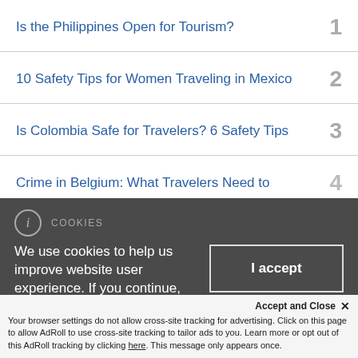Is the Philippines Open for Tourism? 1
10 Safety Tips for Women Traveling in Mexico 2
Is Colombia Safe for Travelers? 6 Safety Tips 3
Crime in Belgium: What Travelers Need to 4
COOKIES
We use cookies to help us improve website user experience. If you continue, we'll assume that you are happy for us to use cookies for this
I accept
Accept and Close ×
Your browser settings do not allow cross-site tracking for advertising. Click on this page to allow AdRoll to use cross-site tracking to tailor ads to you. Learn more or opt out of this AdRoll tracking by clicking here. This message only appears once.